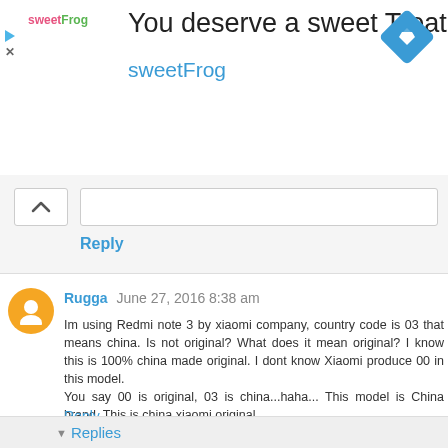[Figure (advertisement): sweetFrog advertisement banner with logo, tagline 'You deserve a sweet Treat', brand name 'sweetFrog', and a blue diamond direction icon on the right.]
Reply
Rugga  June 27, 2016 8:38 am
Im using Redmi note 3 by xiaomi company, country code is 03 that means china. Is not original? What does it mean original? I know this is 100% china made original. I dont know Xiaomi produce 00 in this model.
You say 00 is original, 03 is china...haha... This model is China brand. This is china xiaomi original.
Does China make 00 and 03 in this model sperately? Stick Made in India at the back label.
Reply
▾  Replies